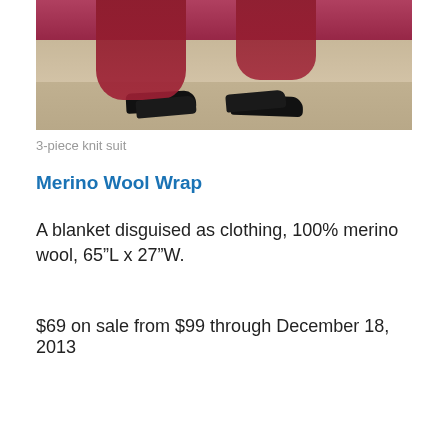[Figure (photo): Bottom portion of woman wearing long dark red/maroon dress and black flat shoes walking on stone steps]
3-piece knit suit
Merino Wool Wrap
A blanket disguised as clothing, 100% merino wool, 65"L x 27"W.
$69 on sale from $99 through December 18, 2013
[Figure (photo): Smiling blonde woman wearing red merino wool wrap over cream turtleneck, with mountains and trees in the background]